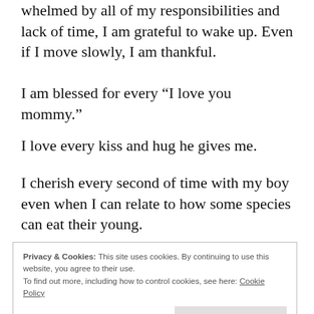whelmed by all of my responsibilities and lack of time, I am grateful to wake up. Even if I move slowly, I am thankful.
I am blessed for every “I love you mommy.”
I love every kiss and hug he gives me.
I cherish every second of time with my boy even when I can relate to how some species can eat their young.
Privacy & Cookies: This site uses cookies. By continuing to use this website, you agree to their use.
To find out more, including how to control cookies, see here: Cookie Policy
Close and accept